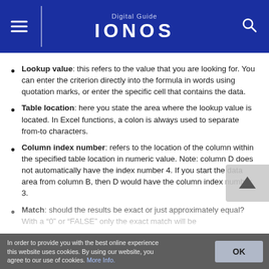Digital Guide IONOS
Lookup value: this refers to the value that you are looking for. You can enter the criterion directly into the formula in words using quotation marks, or enter the specific cell that contains the data.
Table location: here you state the area where the lookup value is located. In Excel functions, a colon is always used to separate from-to characters.
Column index number: refers to the location of the column within the specified table location in numeric value. Note: column D does not automatically have the index number 4. If you start the data area from column B, then D would have the column index number 3.
Match: should the results be exact or just approximately equal? With a “0” or “FALSE” only the exact match will be
In order to provide you with the best online experience this website uses cookies. By using our website, you agree to our use of cookies. More Info.